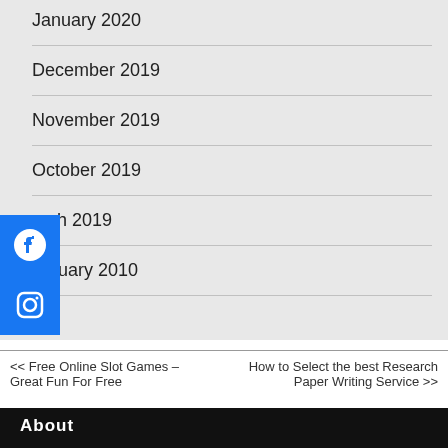January 2020
December 2019
November 2019
October 2019
arch 2019
ebruary 2010
[Figure (logo): Facebook social media button (blue square with white Facebook circle icon)]
[Figure (logo): Instagram social media button (blue square with white Instagram camera icon)]
<< Free Online Slot Games – Great Fun For Free
How to Select the best Research Paper Writing Service >>
About